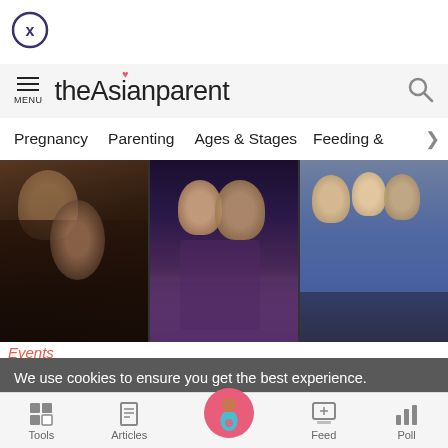[Figure (screenshot): Close/X button circle icon top left]
theAsianparent - MENU header with search icon
Pregnancy
Parenting
Ages & Stages
Feeding &
[Figure (photo): Three photos side by side showing children at events]
Events
Bottom navigation: Tools, Articles, (home pregnancy icon), Feed, Poll
We use cookies to ensure you get the best experience.
Learn More   Ok, Got it